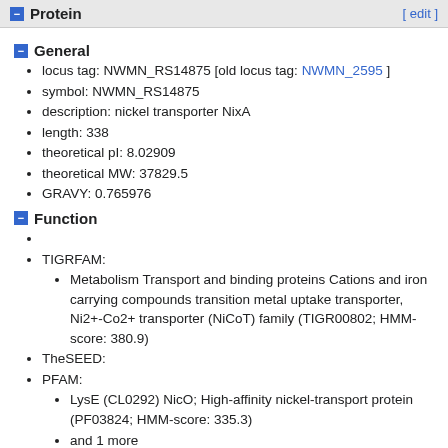Protein [ edit ]
General
locus tag: NWMN_RS14875 [old locus tag: NWMN_2595 ]
symbol: NWMN_RS14875
description: nickel transporter NixA
length: 338
theoretical pI: 8.02909
theoretical MW: 37829.5
GRAVY: 0.765976
Function
TIGRFAM:
Metabolism Transport and binding proteins Cations and iron carrying compounds transition metal uptake transporter, Ni2+-Co2+ transporter (NiCoT) family (TIGR00802; HMM-score: 380.9)
TheSEED:
PFAM:
LysE (CL0292) NicO; High-affinity nickel-transport protein (PF03824; HMM-score: 335.3)
and 1 more
no clan defined MHYT; Bacterial signalling protein N